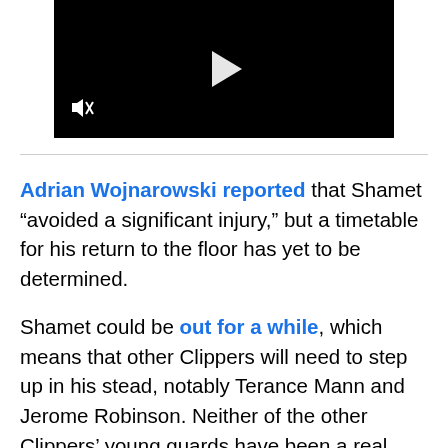[Figure (screenshot): Black video player with a white play button triangle in the center and a muted/speaker icon in the lower left corner]
Adrian Wojnarowski reported that Shamet “avoided a significant injury,” but a timetable for his return to the floor has yet to be determined.
Shamet could be out for a while, which means that other Clippers will need to step up in his stead, notably Terance Mann and Jerome Robinson. Neither of the other Clippers’ young guards have been a real part of Doc Rivers’ rotation despite hype in preseason and training camp, and at least one (if not both) of them will